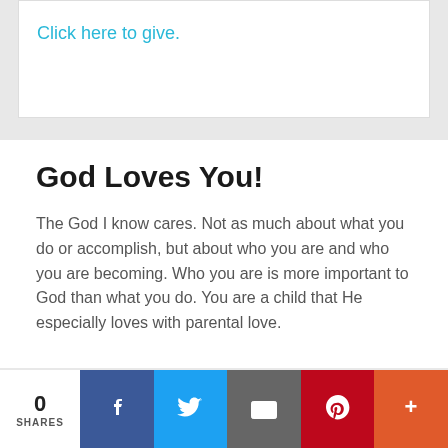Click here to give.
God Loves You!
The God I know cares. Not as much about what you do or accomplish, but about who you are and who you are becoming. Who you are is more important to God than what you do. You are a child that He especially loves with parental love.